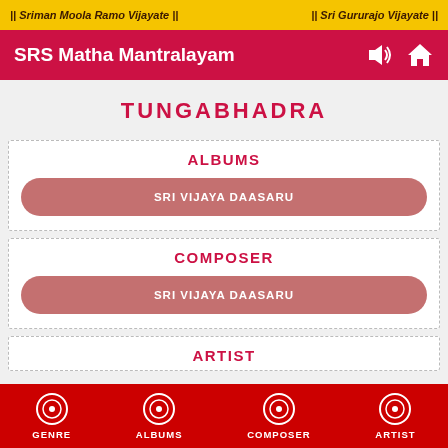|| Sriman Moola Ramo Vijayate ||    || Sri Gururajo Vijayate ||
SRS Matha Mantralayam
TUNGABHADRA
ALBUMS
SRI VIJAYA DAASARU
COMPOSER
SRI VIJAYA DAASARU
ARTIST
GENRE  ALBUMS  COMPOSER  ARTIST